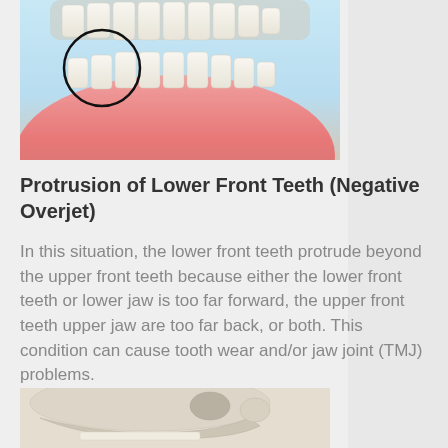[Figure (photo): Medical illustration of lower teeth/gum from a frontal angle, with a black circle highlighting the front lower teeth area. The gum tissue is shown in pink/red gradient against a light blue background.]
Protrusion of Lower Front Teeth (Negative Overjet)
In this situation, the lower front teeth protrude beyond the upper front teeth because either the lower front teeth or lower jaw is too far forward, the upper front teeth upper jaw are too far back, or both. This condition can cause tooth wear and/or jaw joint (TMJ) problems.
[Figure (photo): Medical illustration of a human skull shown in side profile (lateral view), showing the jaw structure and facial bones in a bone-colored/white rendering.]